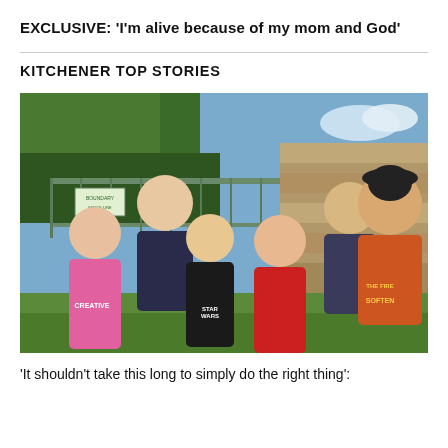EXCLUSIVE: 'I'm alive because of my mom and God'
KITCHENER TOP STORIES
[Figure (photo): A family of six posing outdoors near a metal fence with trees and a stone wall in the background. The group includes a woman in a dark shirt, a man in an orange t-shirt wearing a dark cap, and four children of varying ages. The children are wearing colorful shirts including pink, black Star Wars, and red.]
'It shouldn't take this long to simply do the right thing':